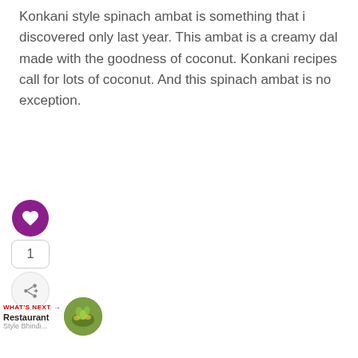Konkani style spinach ambat is something that i discovered only last year. This ambat is a creamy dal made with the goodness of coconut. Konkani recipes call for lots of coconut. And this spinach ambat is no exception.
[Figure (infographic): Social interaction buttons: purple heart/like button with count of 1, and a share button below]
[Figure (infographic): What's Next section with label, Restaurant Style Bhindi... text, and a circular food image]